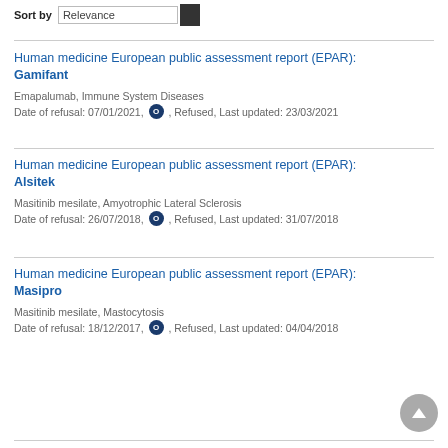Sort by  Relevance
Human medicine European public assessment report (EPAR): Gamifant
Emapalumab, Immune System Diseases
Date of refusal: 07/01/2021, O , Refused, Last updated: 23/03/2021
Human medicine European public assessment report (EPAR): Alsitek
Masitinib mesilate, Amyotrophic Lateral Sclerosis
Date of refusal: 26/07/2018, O , Refused, Last updated: 31/07/2018
Human medicine European public assessment report (EPAR): Masipro
Masitinib mesilate, Mastocytosis
Date of refusal: 18/12/2017, O , Refused, Last updated: 04/04/2018